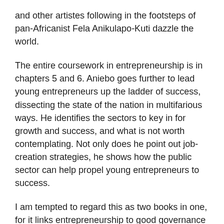and other artistes following in the footsteps of pan-Africanist Fela Anikulapo-Kuti dazzle the world.
The entire coursework in entrepreneurship is in chapters 5 and 6. Aniebo goes further to lead young entrepreneurs up the ladder of success, dissecting the state of the nation in multifarious ways. He identifies the sectors to key in for growth and success, and what is not worth contemplating. Not only does he point out job-creation strategies, he shows how the public sector can help propel young entrepreneurs to success.
I am tempted to regard this as two books in one, for it links entrepreneurship to good governance – and good corporate governance, for that matter – in later chapters with unassailable commentaries. My friend's pen overflows with smart ideas – he has no time for “fake news”, even as he sometimes writes with rage. And, in this book, he continues the